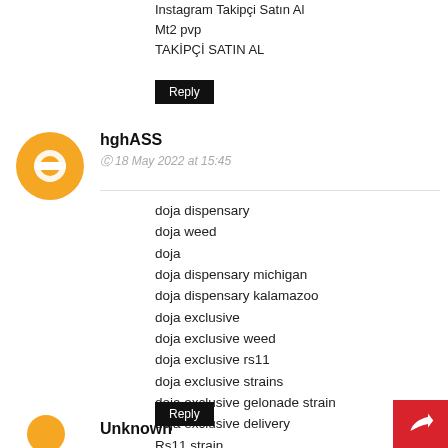Instagram Takipçi Satın Al
Mt2 pvp
TAKİPÇİ SATIN AL
Reply
hghASS
18 May 2022 at 15:45
doja dispensary
doja weed
doja
doja dispensary michigan
doja dispensary kalamazoo
doja exclusive
doja exclusive weed
doja exclusive rs11
doja exclusive strains
doja exclusive gelonade strain
doja exclusive delivery
Rs11 strain
doja cookies strain
Reply
Unknown